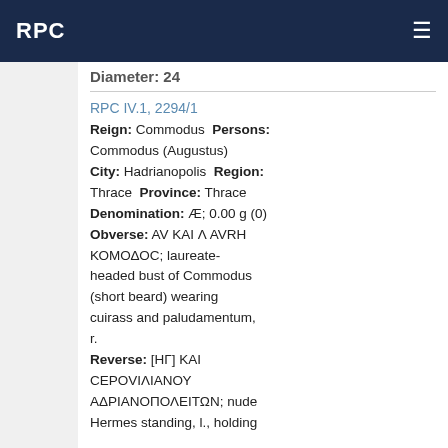RPC
Diameter: 24
RPC IV.1, 2294/1
Reign: Commodus Persons: Commodus (Augustus) City: Hadrianopolis Region: Thrace Province: Thrace Denomination: Æ; 0.00 g (0) Obverse: AV KAI Λ AVRH ΚΟΜΟΔΟC; laureate-headed bust of Commodus (short beard) wearing cuirass and paludamentum, r. Reverse: [ΗΓ] ΚΑΙ CΕΡΟVΙΛΙΑΝΟΥ ΑΔΡΙΑΝΟΠΟΛΕΙΤΩΝ; nude Hermes standing, l., holding